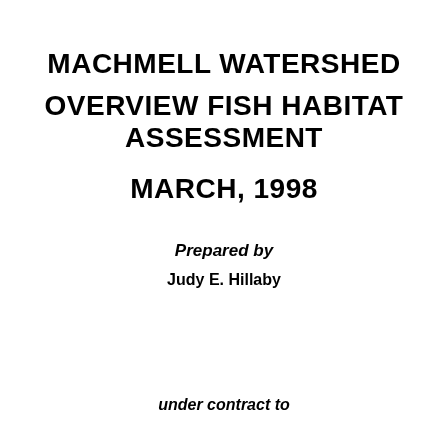MACHMELL WATERSHED
OVERVIEW FISH HABITAT ASSESSMENT
MARCH, 1998
Prepared by
Judy E. Hillaby
under contract to